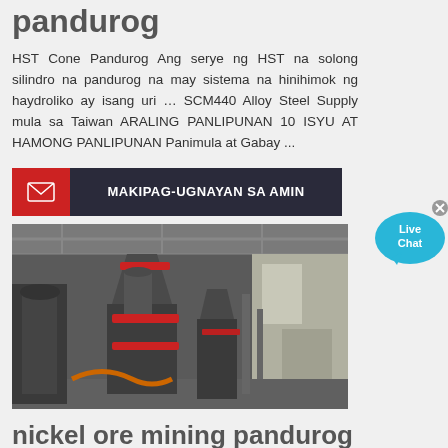pandurog
HST Cone Pandurog Ang serye ng HST na solong silindro na pandurog na may sistema na hinihimok ng haydroliko ay isang uri … SCM440 Alloy Steel Supply mula sa Taiwan ARALING PANLIPUNAN 10 ISYU AT HAMONG PANLIPUNAN Panimula at Gabay ...
[Figure (other): Contact button bar with red mail icon and dark background reading MAKIPAG-UGNAYAN SA AMIN]
[Figure (photo): Industrial cone crusher machine in a factory setting, large grey metal equipment]
nickel ore mining pandurog
of nickel occur in sulphide and in laterite type ore deposits